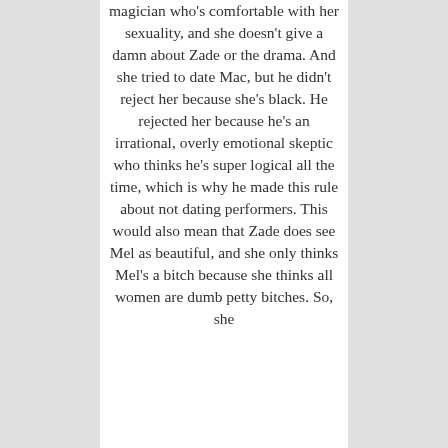magician who's comfortable with her sexuality, and she doesn't give a damn about Zade or the drama. And she tried to date Mac, but he didn't reject her because she's black. He rejected her because he's an irrational, overly emotional skeptic who thinks he's super logical all the time, which is why he made this rule about not dating performers. This would also mean that Zade does see Mel as beautiful, and she only thinks Mel's a bitch because she thinks all women are dumb petty bitches. So, she